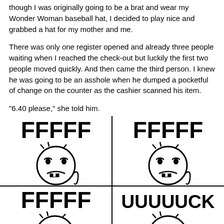though I was originally going to be a brat and wear my Wonder Woman baseball hat, I decided to play nice and grabbed a hat for my mother and me.
There was only one register opened and already three people waiting when I reached the check-out but luckily the first two people moved quickly. And then came the third person. I knew he was going to be an asshole when he dumped a pocketful of change on the counter as the cashier scanned his item.
“6.40 please,” she told him.
[Figure (illustration): Four-panel internet rage comic meme. Top-left: FFFFF with rage face. Top-right: FFFFF with rage face. Bottom-left: FFFFF with rage face. Bottom-right: UUUUUCK with rage face. Together spelling FFFFFFFUUUUUUCK.]